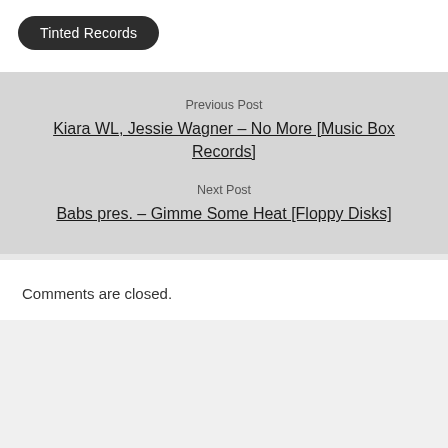Tinted Records
Previous Post
Kiara WL, Jessie Wagner – No More [Music Box Records]
Next Post
Babs pres. – Gimme Some Heat [Floppy Disks]
Comments are closed.